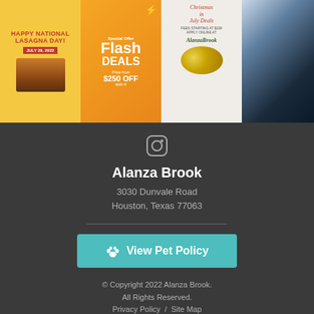[Figure (photo): Four social media promotional images in a grid: 1) Happy National Lasagna Day July 29 2022, yellow background with food. 2) Special Offer Flash Deals $250 OFF on orange gradient background. 3) Christmas in July Deals starting at $199 AlanzaBrook. 4) Person in a car.]
[Figure (other): Instagram icon]
Alanza Brook
3030 Dunvale Road
Houston, Texas 77063
[Figure (other): View Pet Policy button with paw icon]
© Copyright 2022 Alanza Brook. All Rights Reserved.
Privacy Policy  /  Site Map
[Figure (other): Footer icons: paw print, equal housing, accessibility, vertical divider, Powered By JONAH logo]